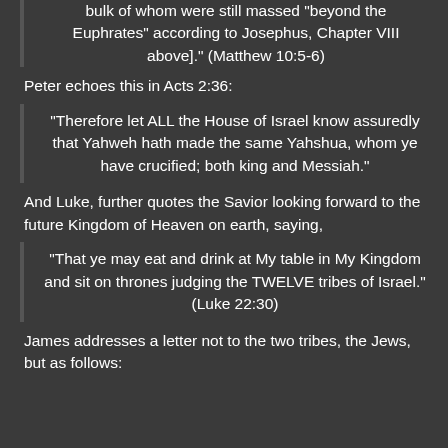bulk of whom were still massed "beyond the Euphrates" according to Josephus, Chapter VIII above]." (Matthew 10:5-6)
Peter echoes this in Acts 2:36:
"Therefore let ALL the House of Israel know assuredly that Yahweh hath made the same Yahshua, whom ye have crucified; both king and Messiah."
And Luke, further quotes the Savior looking forward to the future Kingdom of Heaven on earth, saying,
"That ye may eat and drink at My table in My Kingdom and sit on thrones judging the TWELVE tribes of Israel." (Luke 22:30)
James addresses a letter not to the two tribes, the Jews, but as follows: